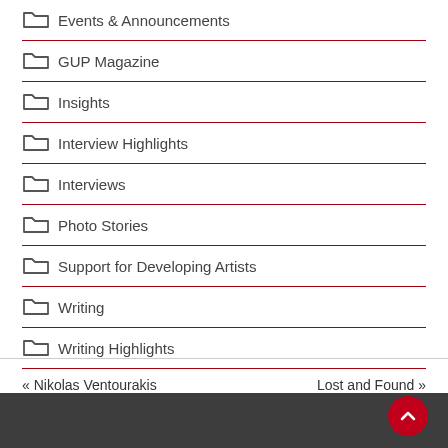Events & Announcements
GUP Magazine
Insights
Interview Highlights
Interviews
Photo Stories
Support for Developing Artists
Writing
Writing Highlights
« Nikolas Ventourakis    Lost and Found »